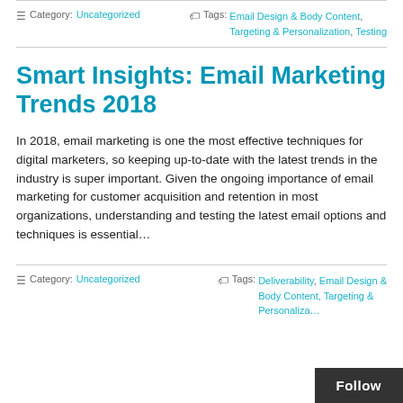Category: Uncategorized    Tags: Email Design & Body Content, Targeting & Personalization, Testing
Smart Insights: Email Marketing Trends 2018
In 2018, email marketing is one the most effective techniques for digital marketers, so keeping up-to-date with the latest trends in the industry is super important. Given the ongoing importance of email marketing for customer acquisition and retention in most organizations, understanding and testing the latest email options and techniques is essential…
Category: Uncategorized    Tags: Deliverability, Email Design & Body Content, Targeting & Personalization…